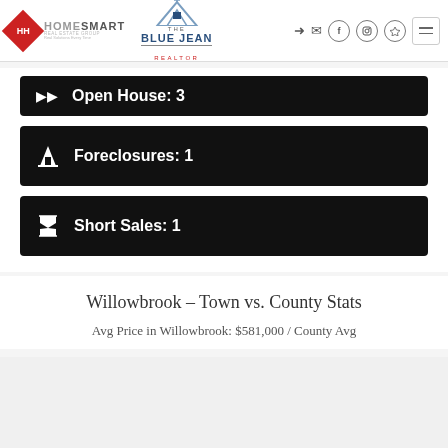HomeSmart / The Blue Jean Realtor header with navigation icons
Open House: 3
Foreclosures: 1
Short Sales: 1
Willowbrook - Town vs. County Stats
Avg Price in Willowbrook: $581,000 / County Avg